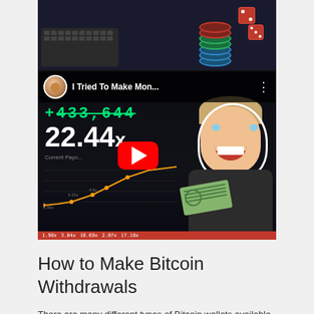[Figure (photo): Top portion of a webpage showing a photo of poker chips and a keyboard on a dark background, followed by a YouTube video thumbnail titled 'I Tried To Make Mon...' showing a person holding money with stats '433,644' and '22.44x' displayed, with a red YouTube play button overlay]
How to Make Bitcoin Withdrawals
There are many different types of Bitcoin wallets available, so it's important to do your research and find